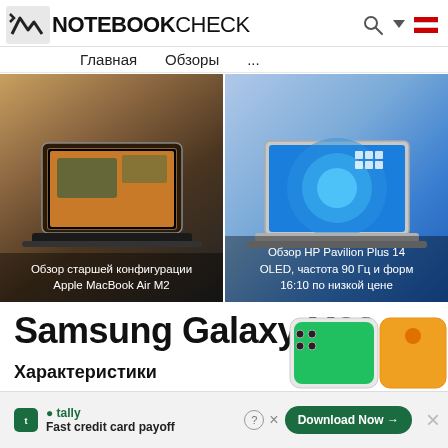NOTEBOOKCHECK — Главная  Обзоры  ...
[Figure (screenshot): NotebookCheck website screenshot showing two laptop review cards: left card shows Apple MacBook Air M2 with caption 'Обзор старшей конфигурации Apple MacBook Air M2', right card shows HP Pavilion Plus 14 with caption 'Обзор HP Pavilion Plus 14 OLED, частота 90 Гц и форм 16:10 по низкой цене']
Samsung Galaxy M32
Характеристики
[Figure (photo): Partial view of Samsung Galaxy M32 phone at bottom right]
tally  Fast credit card payoff  Download Now →